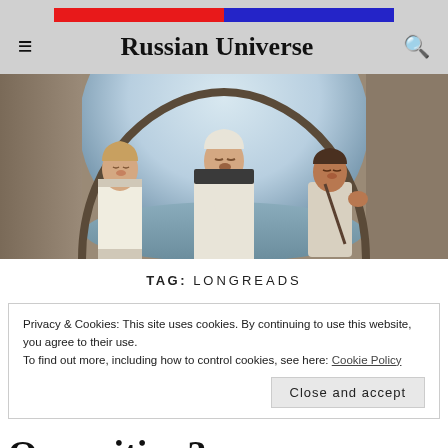[Figure (illustration): Russian flag bar — left half red, right half blue]
Russian Universe
[Figure (illustration): Painting of three medieval Russian bards/singers under a stone arch, with sea in background — Viktor Vasnetsov style]
TAG: LONGREADS
Privacy & Cookies: This site uses cookies. By continuing to use this website, you agree to their use.
To find out more, including how to control cookies, see here: Cookie Policy
Close and accept
Opposition?